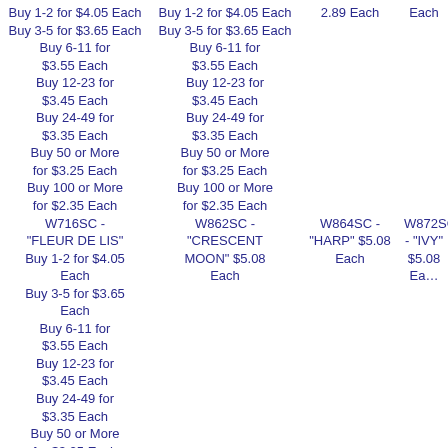Buy 1-2 for $4.05 Each
Buy 3-5 for $3.65 Each
Buy 6-11 for $3.55 Each
Buy 12-23 for $3.45 Each
Buy 24-49 for $3.35 Each
Buy 50 or More for $3.25 Each
Buy 100 or More for $2.35 Each
Buy 1-2 for $4.05 Each
Buy 3-5 for $3.65 Each
Buy 6-11 for $3.55 Each
Buy 12-23 for $3.45 Each
Buy 24-49 for $3.35 Each
Buy 50 or More for $3.25 Each
Buy 100 or More for $2.35 Each
2.89 Each
Each
W716SC - "FLEUR DE LIS"
Buy 1-2 for $4.05 Each
Buy 3-5 for $3.65 Each
Buy 6-11 for $3.55 Each
Buy 12-23 for $3.45 Each
Buy 24-49 for $3.35 Each
Buy 50 or More for $3.25 Each
W862SC - "CRESCENT MOON" $5.08 Each
W864SC - "HARP" $5.08 Each
W872SC - "IVY" $5.08 Each